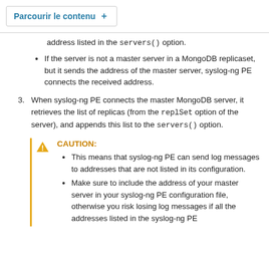Parcourir le contenu +
address listed in the servers() option.
If the server is not a master server in a MongoDB replicaset, but it sends the address of the master server, syslog-ng PE connects the received address.
3. When syslog-ng PE connects the master MongoDB server, it retrieves the list of replicas (from the replSet option of the server), and appends this list to the servers() option.
CAUTION:
This means that syslog-ng PE can send log messages to addresses that are not listed in its configuration.
Make sure to include the address of your master server in your syslog-ng PE configuration file, otherwise you risk losing log messages if all the addresses listed in the syslog-ng PE